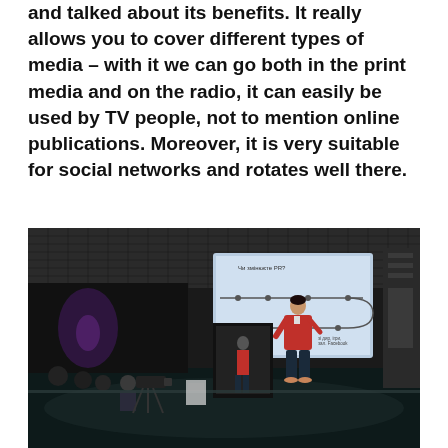and talked about its benefits. It really allows you to cover different types of media – with it we can go both in the print media and on the radio, it can easily be used by TV people, not to mention online publications. Moreover, it is very suitable for social networks and rotates well there.
[Figure (photo): A speaker in a red top stands on a dark stage presenting to an audience, with a large illuminated screen behind her showing a diagram. The venue has a dark ceiling with grid-patterned panels. Audience members and a seated person with camera equipment are visible in the foreground.]